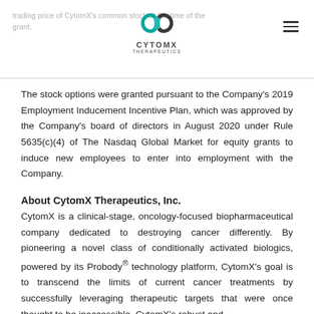trading price of CytomX's common stock at the time of the grant. [CytomX Therapeutics logo]
The stock options were granted pursuant to the Company’s 2019 Employment Inducement Incentive Plan, which was approved by the Company’s board of directors in August 2020 under Rule 5635(c)(4) of The Nasdaq Global Market for equity grants to induce new employees to enter into employment with the Company.
About CytomX Therapeutics, Inc.
CytomX is a clinical-stage, oncology-focused biopharmaceutical company dedicated to destroying cancer differently. By pioneering a novel class of conditionally activated biologics, powered by its Probody® technology platform, CytomX’s goal is to transcend the limits of current cancer treatments by successfully leveraging therapeutic targets that were once thought to be inaccessible. CytomX’s robust and